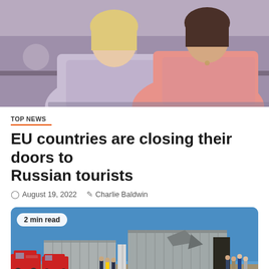[Figure (photo): Two women standing indoors, one in a light lavender sweater and one in a pink sweater, facing each other in what appears to be an official or conference setting.]
TOP NEWS
EU countries are closing their doors to Russian tourists
August 19, 2022   Charlie Baldwin
[Figure (photo): Outdoor scene showing a damaged metal warehouse/hangar building with a collapsed section, fire trucks, firefighters, and bystanders gathered around the debris on a dirt lot under a clear blue sky. Badge: 2 min read.]